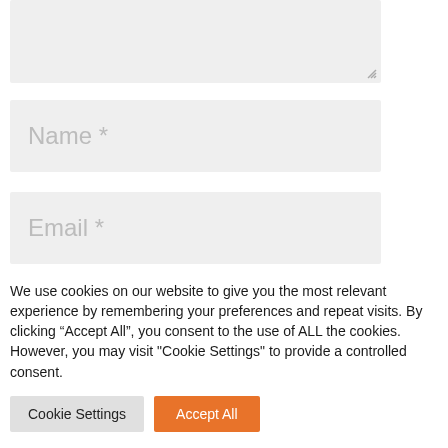[Figure (screenshot): Partially visible textarea input field with light gray background and resize handle in bottom-right corner]
[Figure (screenshot): Text input field with placeholder text 'Name *' in light gray]
[Figure (screenshot): Text input field with placeholder text 'Email *' in light gray]
[Figure (screenshot): Text input field with placeholder text 'Website' in light gray, partially visible]
We use cookies on our website to give you the most relevant experience by remembering your preferences and repeat visits. By clicking “Accept All”, you consent to the use of ALL the cookies. However, you may visit "Cookie Settings" to provide a controlled consent.